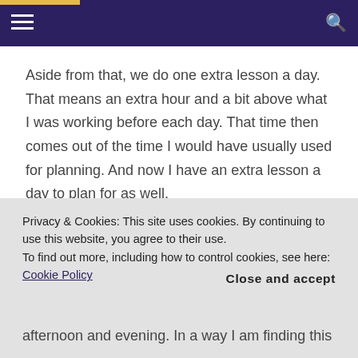Navigation bar with hamburger menu and search icon
Aside from that, we do one extra lesson a day. That means an extra hour and a bit above what I was working before each day. That time then comes out of the time I would have usually used for planning. And now I have an extra lesson a day to plan for as well.
So add up the hour plus a week for extra-curricular
Privacy & Cookies: This site uses cookies. By continuing to use this website, you agree to their use. To find out more, including how to control cookies, see here: Cookie Policy   Close and accept
afternoon and evening. In a way I am finding this